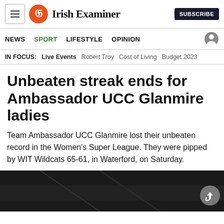Irish Examiner
NEWS SPORT LIFESTYLE OPINION
IN FOCUS: Live Events  Robert Troy  Cost of Living  Budget 2023
Unbeaten streak ends for Ambassador UCC Glanmire ladies
Team Ambassador UCC Glanmire lost their unbeaten record in the Women's Super League. They were pipped by WIT Wildcats 65-61, in Waterford, on Saturday.
[Figure (photo): Dark photograph related to the basketball article]